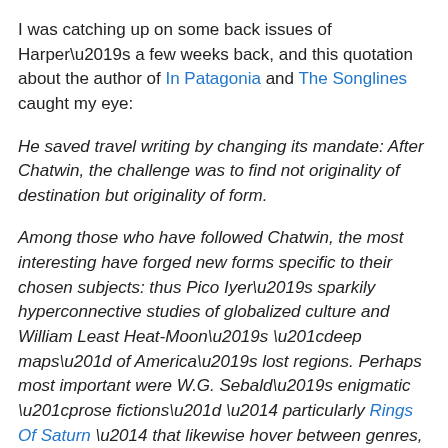I was catching up on some back issues of Harper's a few weeks back, and this quotation about the author of In Patagonia and The Songlines caught my eye:
He saved travel writing by changing its mandate: After Chatwin, the challenge was to find not originality of destination but originality of form.
Among those who have followed Chatwin, the most interesting have forged new forms specific to their chosen subjects: thus Pico Iyer's sparkily hyperconnective studies of globalized culture and William Least Heat-Moon's “deep maps” of America’s lost regions. Perhaps most important were W.G. Sebald’s enigmatic “prose fictions” — particularly Rings Of Saturn — that likewise hover between genres, make play with unreliability, and fold in on other forms: traveler’s tale, antiquarian digression, and